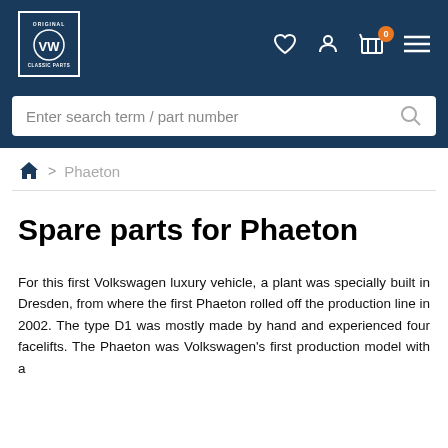[Figure (logo): VW Original Classic Parts logo in white on dark blue header with navigation icons (heart, person, cart with 0 badge, hamburger menu)]
Enter search term / part number
Home > Phaeton
Spare parts for Phaeton
For this first Volkswagen luxury vehicle, a plant was specially built in Dresden, from where the first Phaeton rolled off the production line in 2002. The type D1 was mostly made by hand and experienced four facelifts. The Phaeton was Volkswagen's first production model with a